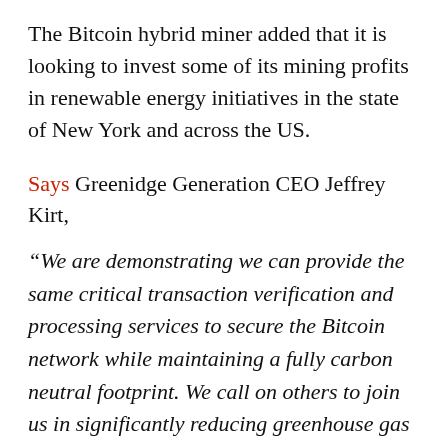The Bitcoin hybrid miner added that it is looking to invest some of its mining profits in renewable energy initiatives in the state of New York and across the US.
Says Greenidge Generation CEO Jeffrey Kirt,
“We are demonstrating we can provide the same critical transaction verification and processing services to secure the Bitcoin network while maintaining a fully carbon neutral footprint. We call on others to join us in significantly reducing greenhouse gas emissions now.”
Greenidge’s decision to offset its carbon emissions comes after billionaire Elon Musk